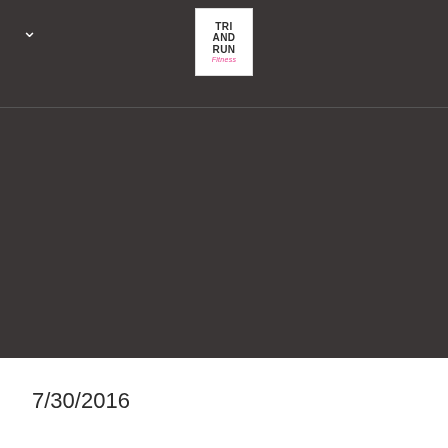TRI AND RUN Fitness
[Figure (logo): Tri And Run Fitness logo — white box with bold black text TRI AND RUN and pink italic text Fitness below]
[Figure (photo): Large dark/near-black rectangular area filling most of the page, likely a dark background or image placeholder]
7/30/2016